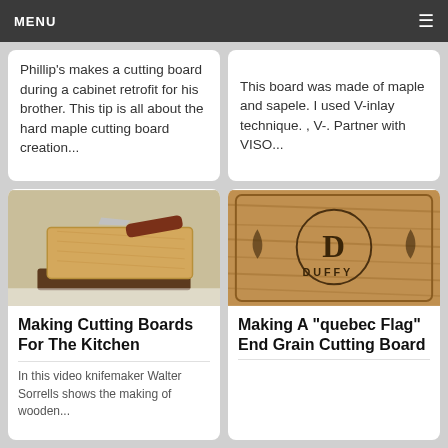MENU
Phillip's makes a cutting board during a cabinet retrofit for his brother. This tip is all about the hard maple cutting board creation...
This board was made of maple and sapele. I used V-inlay technique. , V-. Partner with VISO...
[Figure (photo): Photo of wooden cutting boards stacked with a knife on top]
Making Cutting Boards For The Kitchen
In this video knifemaker Walter Sorrells shows the making of wooden...
[Figure (photo): Photo of a wooden cutting board engraved with 'DUFFY' monogram and decorative design]
Making A "quebec Flag" End Grain Cutting Board